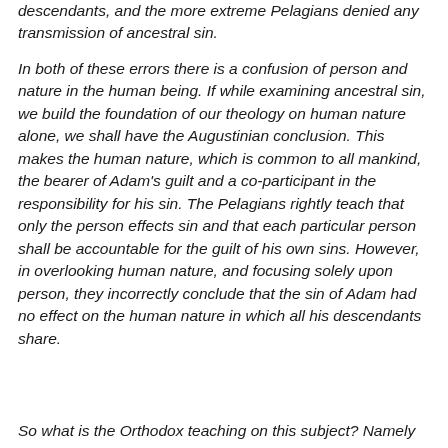descendants, and the more extreme Pelagians denied any transmission of ancestral sin.
In both of these errors there is a confusion of person and nature in the human being. If while examining ancestral sin, we build the foundation of our theology on human nature alone, we shall have the Augustinian conclusion. This makes the human nature, which is common to all mankind, the bearer of Adam's guilt and a co-participant in the responsibility for his sin. The Pelagians rightly teach that only the person effects sin and that each particular person shall be accountable for the guilt of his own sins. However, in overlooking human nature, and focusing solely upon person, they incorrectly conclude that the sin of Adam had no effect on the human nature in which all his descendants share.
So what is the Orthodox teaching on this subject? Namely